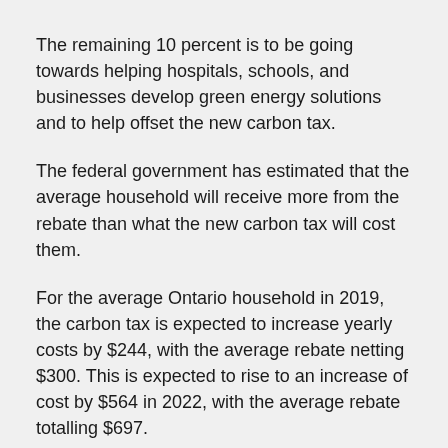The remaining 10 percent is to be going towards helping hospitals, schools, and businesses develop green energy solutions and to help offset the new carbon tax.
The federal government has estimated that the average household will receive more from the rebate than what the new carbon tax will cost them.
For the average Ontario household in 2019, the carbon tax is expected to increase yearly costs by $244, with the average rebate netting $300. This is expected to rise to an increase of cost by $564 in 2022, with the average rebate totalling $697.
In Saskatchewan, the average increase in cost for 2019 is expected to be $403; the average rebate being $598. By 2022, the average cost is estimated to be $946, with the average rebate totalling $1,419.
Manitoba residents are expected to receive a rebate of